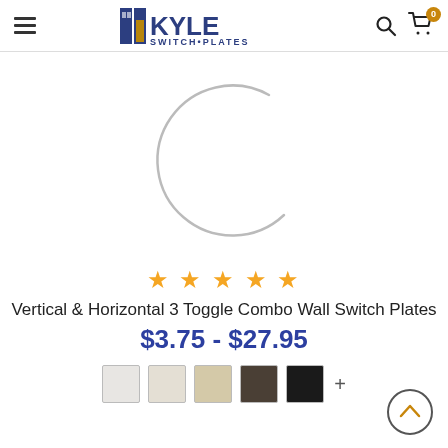Kyle Switch Plates — navigation header with logo, search, and cart
[Figure (illustration): Loading spinner arc (partial circle outline in light gray, indicating a loading state)]
[Figure (illustration): Five gold star rating icons]
Vertical & Horizontal 3 Toggle Combo Wall Switch Plates
$3.75 - $27.95
[Figure (illustration): Five color swatches: white/light gray, ivory/cream, beige/tan, dark gray/brown, black; with a '+' indicating more options]